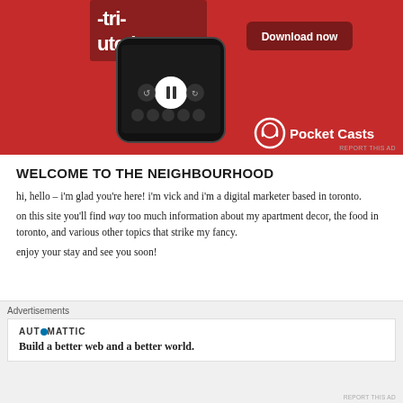[Figure (photo): Pocket Casts app advertisement showing a smartphone with the Pocket Casts app on a red background, with a 'Download now' button and the Pocket Casts logo.]
WELCOME TO THE NEIGHBOURHOOD
hi, hello – i'm glad you're here! i'm vick and i'm a digital marketer based in toronto.
on this site you'll find way too much information about my apartment decor, the food in toronto, and various other topics that strike my fancy.
enjoy your stay and see you soon!
[Figure (screenshot): Automattic advertisement box with logo and tagline: Build a better web and a better world.]